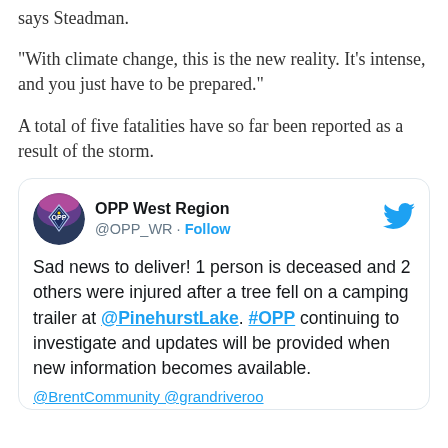says Steadman.
"With climate change, this is the new reality. It's intense, and you just have to be prepared."
A total of five fatalities have so far been reported as a result of the storm.
[Figure (screenshot): Embedded tweet from @OPP_WR (OPP West Region) with Twitter bird logo. Tweet text: 'Sad news to deliver! 1 person is deceased and 2 others were injured after a tree fell on a camping trailer at @PinehurstLake. #OPP continuing to investigate and updates will be provided when new information becomes available. @BrentCommunity @grandriveroo [cut off]']